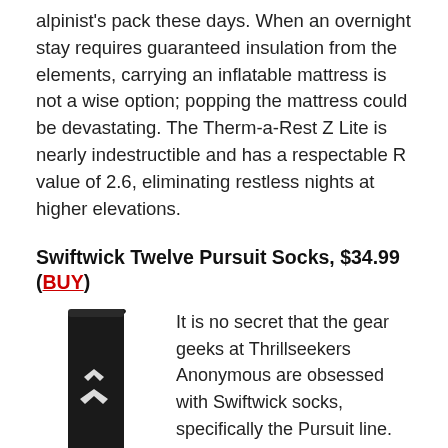alpinist's pack these days. When an overnight stay requires guaranteed insulation from the elements, carrying an inflatable mattress is not a wise option; popping the mattress could be devastating. The Therm-a-Rest Z Lite is nearly indestructible and has a respectable R value of 2.6, eliminating restless nights at higher elevations.
Swiftwick Twelve Pursuit Socks, $34.99 (BUY)
[Figure (photo): Black knee-high Swiftwick Pursuit Twelve sock with white logo marks on the calf]
It is no secret that the gear geeks at Thrillseekers Anonymous are obsessed with Swiftwick socks, specifically the Pursuit line. The Pursuit Twelve socks are made of itch free merino wool and are excellent for winter cardio endeavors including